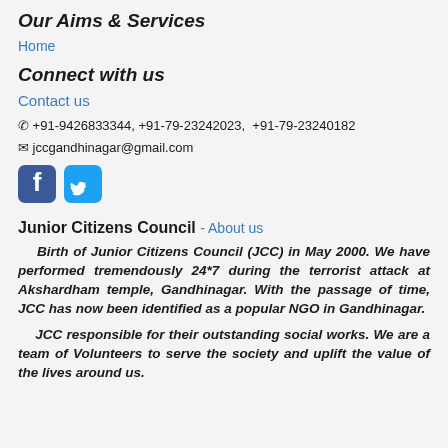Our Aims & Services
Home
Connect with us
Contact us
☎ +91-9426833344, +91-79-23242023,  +91-79-23240182
✉ jccgandhinagar@gmail.com
[Figure (other): Facebook and Twitter social media icons in blue]
Junior Citizens Council - About us
Birth of Junior Citizens Council (JCC) in May 2000. We have performed tremendously 24*7 during the terrorist attack at Akshardham temple, Gandhinagar. With the passage of time, JCC has now been identified as a popular NGO in Gandhinagar.
JCC responsible for their outstanding social works. We are a team of Volunteers to serve the society and uplift the value of the lives around us.